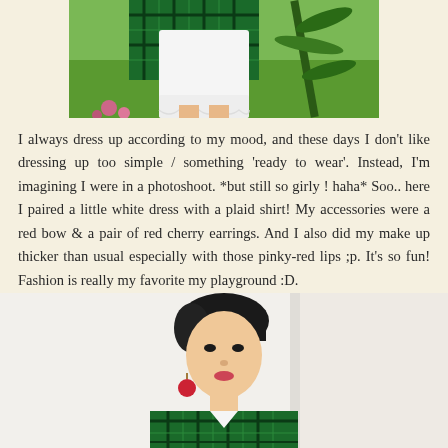[Figure (photo): Top portion of a fashion photo showing a person wearing a white lace dress with a green plaid shirt, standing outdoors near green plants and flowers]
I always dress up according to my mood, and these days I don't like dressing up too simple / something 'ready to wear'. Instead, I'm imagining I were in a photoshoot. *but still so girly ! haha* Soo.. here I paired a little white dress with a plaid shirt! My accessories were a red bow & a pair of red cherry earrings. And I also did my make up thicker than usual especially with those pinky-red lips ;p. It's so fun! Fashion is really my favorite my playground :D.
[Figure (photo): Portrait photo of a young Asian woman with short dark hair wearing a green plaid shirt and red cherry earrings, photographed indoors against a light background]